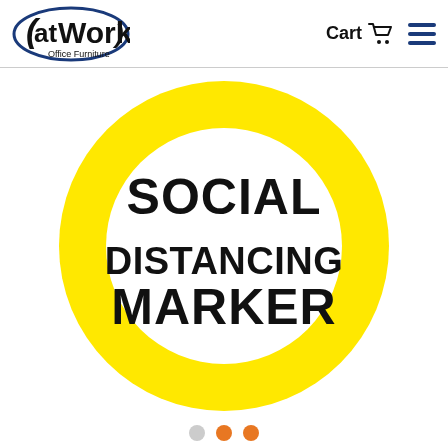atWork Office Furniture — Cart [basket icon] [hamburger menu]
[Figure (illustration): A large yellow ring (thick yellow circle border) on a white background with bold black text reading SOCIAL DISTANCING MARKER in the center white space]
[Figure (other): Navigation dots: three small circles (grey, orange, orange) at the bottom of a carousel]